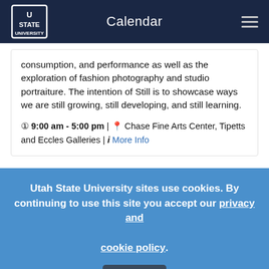Calendar
consumption, and performance as well as the exploration of fashion photography and studio portraiture. The intention of Still is to showcase ways we are still growing, still developing, and still learning.
9:00 am - 5:00 pm | Chase Fine Arts Center, Tipetts and Eccles Galleries | More Info
23 LAEP Speaker Series, WiLA Lecture:
Utah State University sites use cookies. By continuing to use this site you accept our privacy and cookie policy. I agree